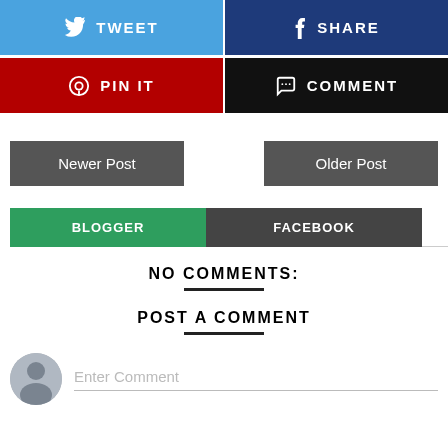[Figure (screenshot): Social share buttons: Tweet (blue) and Share (dark blue)]
[Figure (screenshot): Social share buttons: Pin It (red) and Comment (black)]
Newer Post
Older Post
BLOGGER
FACEBOOK
NO COMMENTS:
POST A COMMENT
Enter Comment